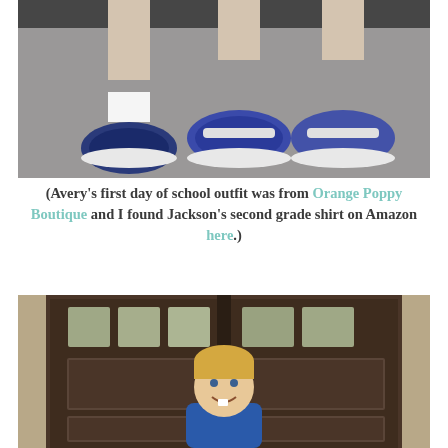[Figure (photo): Close-up photo of two children's feet wearing blue sneakers, standing on a concrete surface]
(Avery's first day of school outfit was from Orange Poppy Boutique and I found Jackson's second grade shirt on Amazon here.)
[Figure (photo): A smiling blonde boy in a blue shirt standing in front of a dark brown double door with glass panel windows]